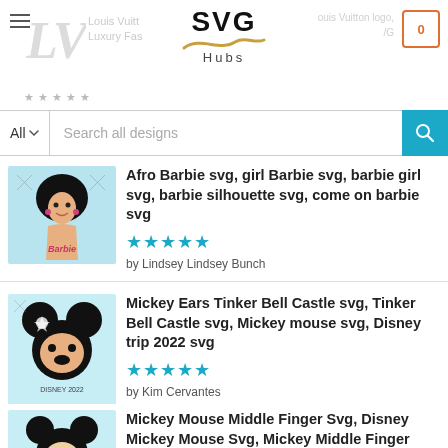SVG Hubs
Search all designs
Afro Barbie svg, girl Barbie svg, barbie girl svg, barbie silhouette svg, come on barbie svg
★★★★★
by Lindsey Lindsey Bunch
Mickey Ears Tinker Bell Castle svg, Tinker Bell Castle svg, Mickey mouse svg, Disney trip 2022 svg
★★★★★
by Kim Cervantes
Mickey Mouse Middle Finger Svg, Disney Mickey Mouse Svg, Mickey Middle Finger SVG
★★★★★